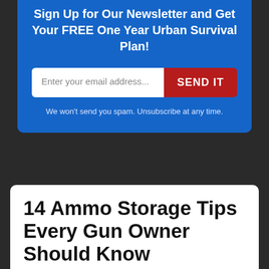Sign Up for Our Newsletter and Get Your FREE One Year Urban Survival Plan!
[Figure (screenshot): Email signup form with input field placeholder 'Enter your email address...' and a red 'SEND IT' button]
We won't send you spam. Unsubscribe at any time.
14 Ammo Storage Tips Every Gun Owner Should Know
By Alan Urban + 37 Comments ✓ This post may